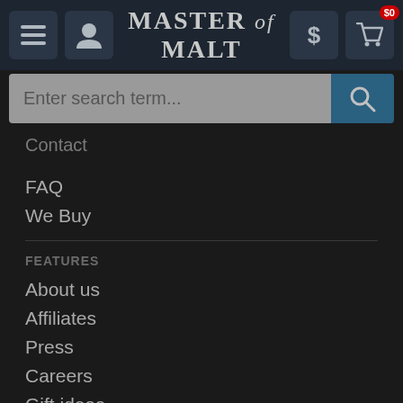Master of Malt
Enter search term...
Contact
FAQ
We Buy
FEATURES
About us
Affiliates
Press
Careers
Gift ideas